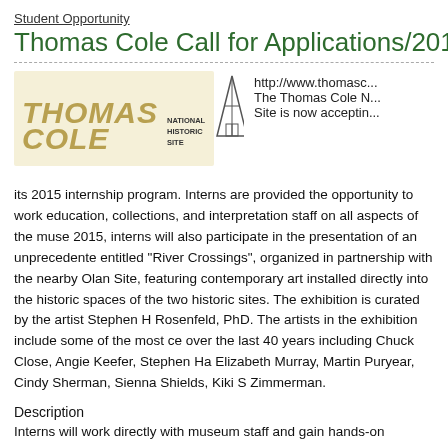Student Opportunity
Thomas Cole Call for Applications/2015
[Figure (logo): Thomas Cole National Historic Site logo with stylized text and architectural illustration]
http://www.thomasc... The Thomas Cole N... Site is now acceptin... its 2015 internship program. Interns are provided the opportunity to work... education, collections, and interpretation staff on all aspects of the muse... 2015, interns will also participate in the presentation of an unprecedente... entitled “River Crossings”, organized in partnership with the nearby Olan... Site, featuring contemporary art installed directly into the historic spaces... of the two historic sites. The exhibition is curated by the artist Stephen H... Rosenfeld, PhD. The artists in the exhibition include some of the most ce... over the last 40 years including Chuck Close, Angie Keefer, Stephen Ha... Elizabeth Murray, Martin Puryear, Cindy Sherman, Sienna Shields, Kiki S... Zimmerman.
Description
Interns will work directly with museum staff and gain hands-on experienc... installation, archive and collection inventory, daily office operations, rese... engagement in the touring operation. Interns also choose and participi...